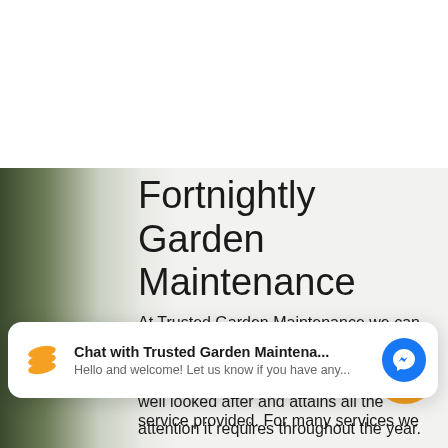Fortnightly Garden Maintenance
At Trusted Garden Maintenance we can create a fortnightly garden maintenance schedule that ensures that your garden is well looked after and attains all the attention it requires throughout the year. The schedule
[Figure (screenshot): Chat widget showing 'Chat with Trusted Garden Maintena...' with orange logo and messenger icon. Hello and welcome! Let us know if you have any...]
service provided. For many services we